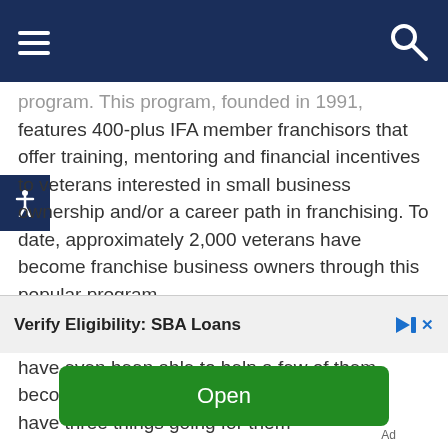Navigation bar with hamburger menu and search icon
program. This program, founded in 1991, features 400-plus IFA member franchisors that offer training, mentoring and financial incentives to veterans interested in small business ownership and/or a career path in franchising. To date, approximately 2,000 veterans have become franchise business owners through this popular program.
I've personally assisted with our veterans, and have even been able to help a few of them become franchise owners. Today's veterans have three things going for them
Verify Eligibility: SBA Loans
Open
Ad